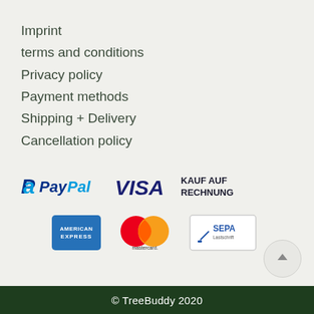Imprint
terms and conditions
Privacy policy
Payment methods
Shipping + Delivery
Cancellation policy
[Figure (logo): PayPal logo with blue PayPal text]
[Figure (logo): VISA logo in blue italic text]
[Figure (logo): KAUF AUF RECHNUNG text in dark bold]
[Figure (logo): American Express blue card logo]
[Figure (logo): Mastercard red and orange overlapping circles logo]
[Figure (logo): SEPA Lastschrift badge with blue text]
© TreeBuddy 2020